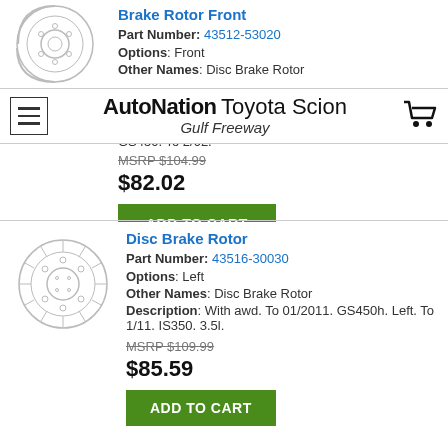Brake Rotor Front
Part Number: 43512-53020
Options: Front
Other Names: Disc Brake Rotor
AutoNation Toyota Scion Gulf Freeway
GS450. To 2/02.
MSRP $104.99
$82.02
ADD TO CART
Disc Brake Rotor
Part Number: 43516-30030
Options: Left
Other Names: Disc Brake Rotor
Description: With awd. To 01/2011. GS450h. Left. To 1/11. IS350. 3.5l.
MSRP $109.99
$85.59